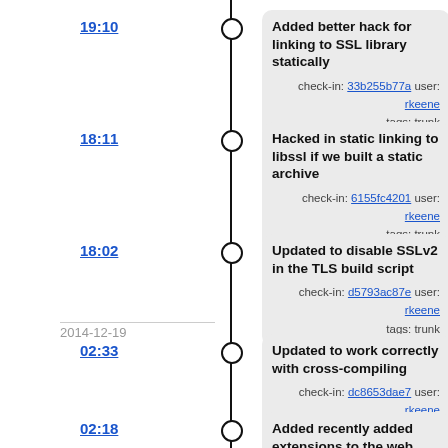19:10 — Added better hack for linking to SSL library statically. check-in: 33b255b77a user: rkeene tags: trunk
18:11 — Hacked in static linking to libssl if we built a static archive. check-in: 6155fc4201 user: rkeene tags: trunk
18:02 — Updated to disable SSLv2 in the TLS build script. check-in: d5793ac87e user: rkeene tags: trunk
2014-12-19
02:33 — Updated to work correctly with cross-compiling. check-in: dc8653dae7 user: rkeene tags: trunk
02:18 — Added recently added extensions to the web interface